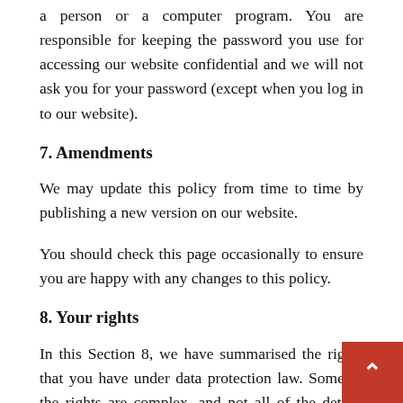a person or a computer program. You are responsible for keeping the password you use for accessing our website confidential and we will not ask you for your password (except when you log in to our website).
7. Amendments
We may update this policy from time to time by publishing a new version on our website.
You should check this page occasionally to ensure you are happy with any changes to this policy.
8. Your rights
In this Section 8, we have summarised the rights that you have under data protection law. Some of the rights are complex, and not all of the details have been included our summaries. Accordingly, you should read the rel laws and guidance from the regulatory authorities for a